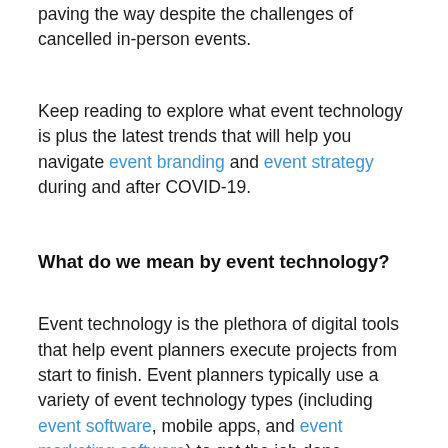paving the way despite the challenges of cancelled in-person events.
Keep reading to explore what event technology is plus the latest trends that will help you navigate event branding and event strategy during and after COVID-19.
What do we mean by event technology?
Event technology is the plethora of digital tools that help event planners execute projects from start to finish. Event planners typically use a variety of event technology types (including event software, mobile apps, and event marketing software) to get the job done.